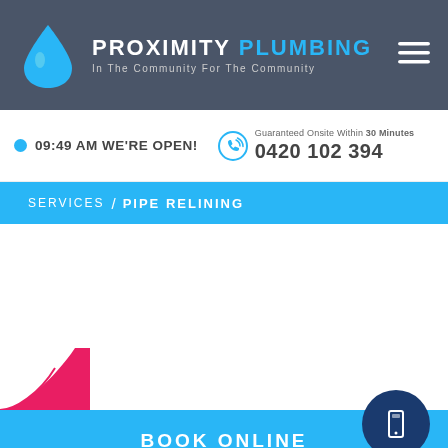PROXIMITY PLUMBING — In The Community For The Community
09:49 AM WE'RE OPEN!
Guaranteed Onsite Within 30 Minutes
0420 102 394
SERVICES / PIPE RELINING
[Figure (logo): Blue water drop logo for Proximity Plumbing]
BOOK ONLINE